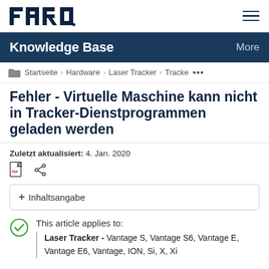[Figure (logo): FARO logo in dark navy blue]
Knowledge Base   More
Startseite > Hardware > Laser Tracker > Tracke ...
Fehler - Virtuelle Maschine kann nicht in Tracker-Dienstprogrammen geladen werden
Zuletzt aktualisiert: 4. Jan. 2020
+ Inhaltsangabe
This article applies to:
Laser Tracker - Vantage S, Vantage S6, Vantage E, Vantage E6, Vantage, ION, Si, X, Xi